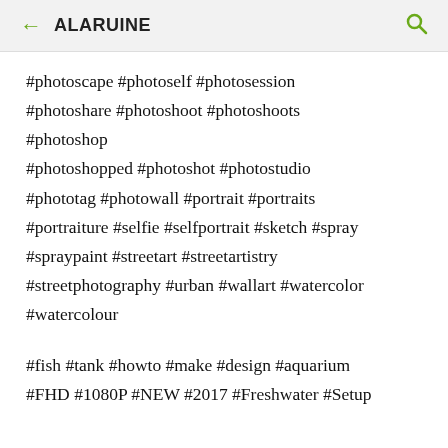← ALARUINE 🔍
#photoscape #photoself #photosession #photoshare #photoshoot #photoshoots #photoshop #photoshopped #photoshot #photostudio #phototag #photowall #portrait #portraits #portraiture #selfie #selfportrait #sketch #spray #spraypaint #streetart #streetartistry #streetphotography #urban #wallart #watercolor #watercolour
#fish #tank #howto #make #design #aquarium #FHD #1080P #NEW #2017 #Freshwater #Setup